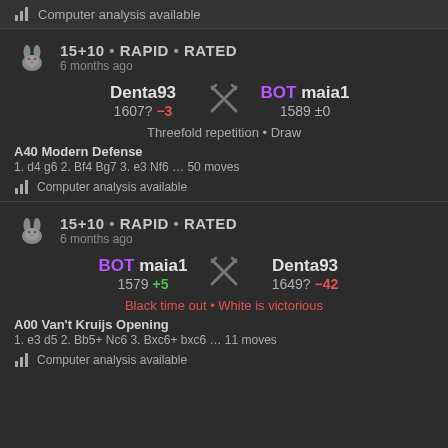Computer analysis available
15+10 • RAPID • RATED
6 months ago
Denta93 1607? −3  BOT maia1 1589 ±0
Threefold repetition • Draw
A40 Modern Defense
1. d4 g6 2. Bf4 Bg7 3. e3 Nf6 … 50 moves
Computer analysis available
15+10 • RAPID • RATED
6 months ago
BOT maia1 1579 +5  Denta93 1649? −42
Black time out • White is victorious
A00 Van't Kruijs Opening
1. e3 d5 2. Bb5+ Nc6 3. Bxc6+ bxc6 … 11 moves
Computer analysis available